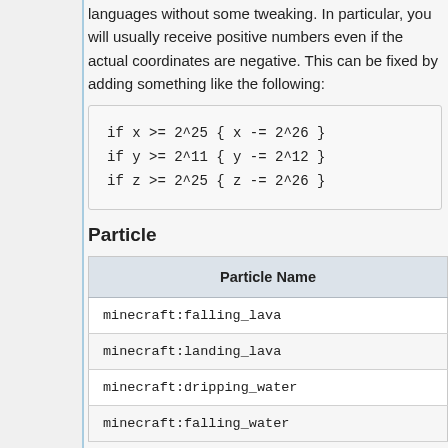languages without some tweaking. In particular, you will usually receive positive numbers even if the actual coordinates are negative. This can be fixed by adding something like the following:
Particle
| Particle Name |
| --- |
| minecraft:falling_lava |
| minecraft:landing_lava |
| minecraft:dripping_water |
| minecraft:falling_water |